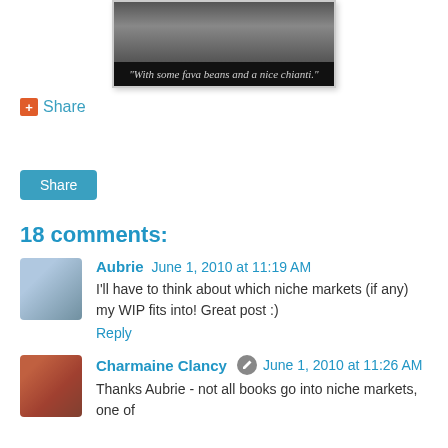[Figure (screenshot): Screenshot of a dark image with caption 'With some fava beans and a nice chianti.']
+ Share
Share
18 comments:
Aubrie   June 1, 2010 at 11:19 AM
I'll have to think about which niche markets (if any) my WIP fits into! Great post :)
Reply
Charmaine Clancy   June 1, 2010 at 11:26 AM
Thanks Aubrie - not all books go into niche markets, one of